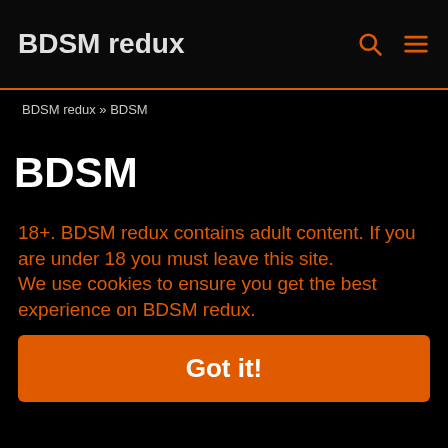BDSM redux
BDSM redux » BDSM
BDSM
18+. BDSM redux contains adult content. If you are under 18 you must leave this site.
We use cookies to ensure you get the best experience on BDSM redux.
Got it!